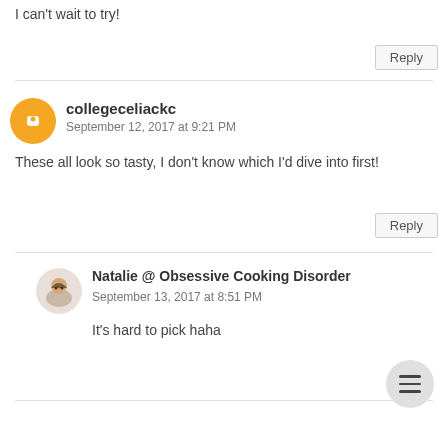I can't wait to try!
Reply
collegeceliackc
September 12, 2017 at 9:21 PM
These all look so tasty, I don't know which I'd dive into first!
Reply
Natalie @ Obsessive Cooking Disorder
September 13, 2017 at 8:51 PM
It's hard to pick haha